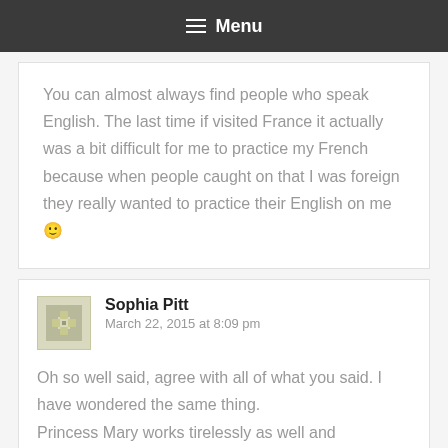≡ Menu
You can almost always find people who speak English. The last time if visited France it actually was a bit difficult for me to practice my French because when people caught on that I was foreign they really wanted to practice their English on me 🙂
Sophia Pitt
March 22, 2015 at 8:09 pm
Oh so well said, agree with all of what you said. I have wondered the same thing. Princess Mary works tirelessly as well and